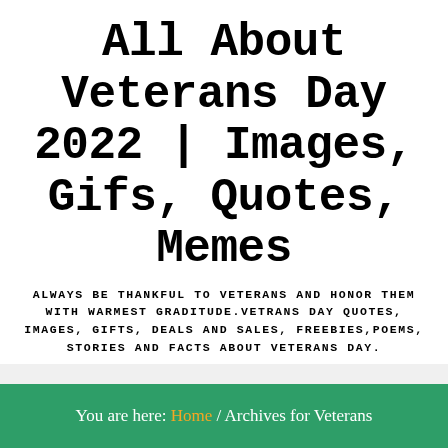All About Veterans Day 2022 | Images, Gifs, Quotes, Memes
ALWAYS BE THANKFUL TO VETERANS AND HONOR THEM WITH WARMEST GRADITUDE.VETRANS DAY QUOTES, IMAGES, GIFTS, DEALS AND SALES, FREEBIES,POEMS, STORIES AND FACTS ABOUT VETERANS DAY.
≡ MENU
You are here: Home / Archives for Veterans